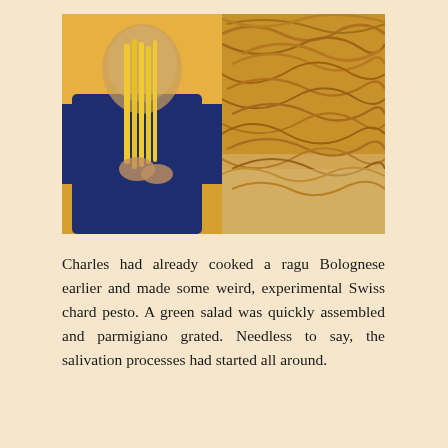[Figure (photo): Two side-by-side photos: left photo shows a person in a dark shirt handling long yellow fresh pasta strands against an orange/yellow background; right photo shows a close-up of dried fresh pasta noodles piled on a floured surface.]
Charles had already cooked a ragu Bolognese earlier and made some weird, experimental Swiss chard pesto. A green salad was quickly assembled and parmigiano grated. Needless to say, the salivation processes had started all around.